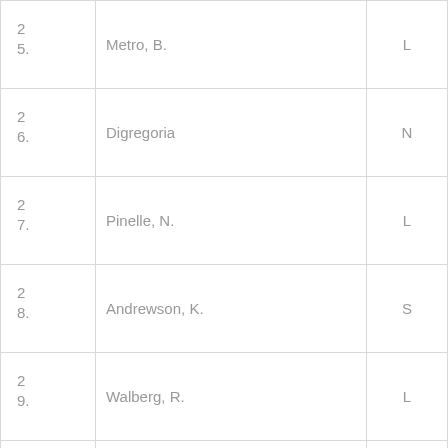| # | Name | Code | Time |
| --- | --- | --- | --- |
| 25. | Metro, B. | L | 19:30 |
| 26. | Digregoria | N | 19:42 |
| 27. | Pinelle, N. | L | 19:49 |
| 28. | Andrewson, K. | S | 19:50 |
| 29. | Walberg, R. | L | 19:52 |
| 3… |  |  |  |